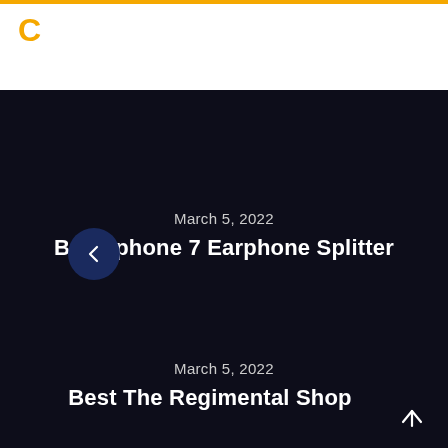C
March 5, 2022
Best Iphone 7 Earphone Splitter
March 5, 2022
Best The Regimental Shop